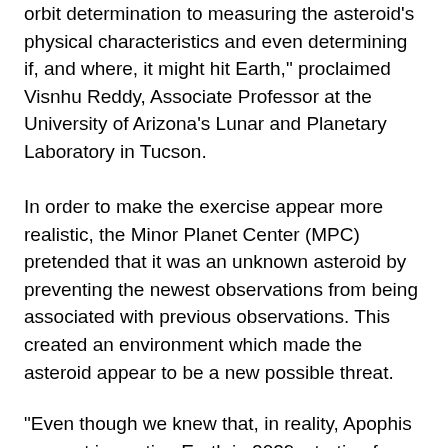orbit determination to measuring the asteroid's physical characteristics and even determining if, and where, it might hit Earth," proclaimed Visnhu Reddy, Associate Professor at the University of Arizona's Lunar and Planetary Laboratory in Tucson.
In order to make the exercise appear more realistic, the Minor Planet Center (MPC) pretended that it was an unknown asteroid by preventing the newest observations from being associated with previous observations. This created an environment which made the asteroid appear to be a new possible threat.
"Even though we knew that, in reality, Apophis was not impacting Earth in 2029, starting from square one, with only a few days of astrometric data from survey telescopes, there were large uncertainties in the object's orbit that theoretically allowed an impact that year," remarked Davide Farnocchia, a navigation engineer at NASA's Jet